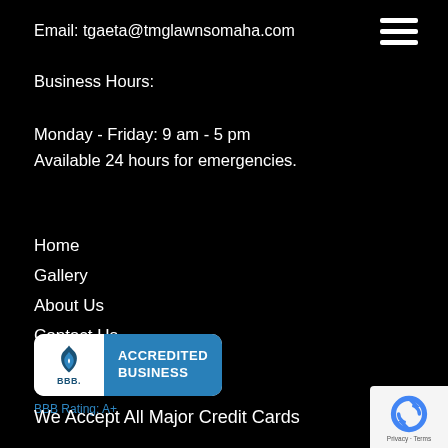Email: tgaeta@tmglawnsomaha.com
[Figure (other): Hamburger menu icon with three white horizontal lines on black background]
Business Hours:
Monday - Friday: 9 am - 5 pm
Available 24 hours for emergencies.
Home
Gallery
About Us
Contact Us
[Figure (logo): BBB Accredited Business badge with blue background and white text. BBB logo on left, 'ACCREDITED BUSINESS' text on right.]
BBB Rating: A+
We Accept All Major Credit Cards
[Figure (other): Google reCAPTCHA privacy badge with reCAPTCHA logo and Privacy · Terms text]